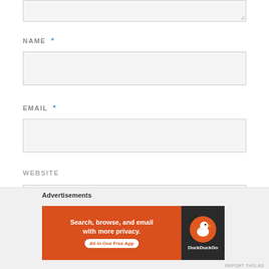[Figure (screenshot): Partial textarea (top of page, cropped)]
NAME *
[Figure (screenshot): Name input text field]
EMAIL *
[Figure (screenshot): Email input text field]
WEBSITE
[Figure (screenshot): Website input text field]
[Figure (screenshot): Submit button (partially visible, black)]
Advertisements
[Figure (screenshot): DuckDuckGo advertisement banner: Search, browse, and email with more privacy. All in One Free App]